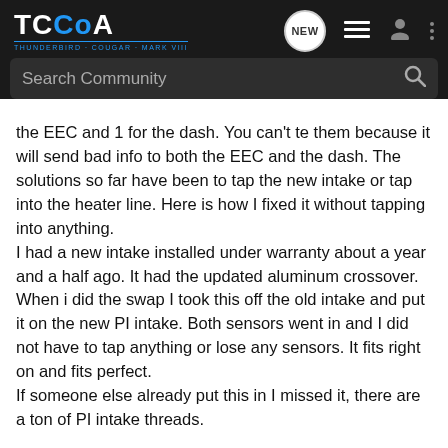TCCoA THUNDERBIRD · COUGAR · MARK VIII — Navigation header with search bar
the EEC and 1 for the dash. You can't te them because it will send bad info to both the EEC and the dash. The solutions so far have been to tap the new intake or tap into the heater line. Here is how I fixed it without tapping into anything.
I had a new intake installed under warranty about a year and a half ago. It had the updated aluminum crossover.
When i did the swap I took this off the old intake and put it on the new PI intake. Both sensors went in and I did not have to tap anything or lose any sensors. It fits right on and fits perfect.
If someone else already put this in I missed it, there are a ton of PI intake threads.